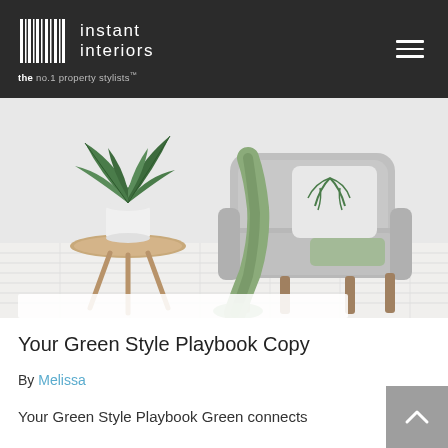[Figure (logo): Instant Interiors logo with barcode-style icon and tagline 'the no.1 property stylists']
[Figure (photo): Interior design scene: grey armchair with sage green throw blanket and botanical pillow, round wooden side table with white plant pot holding a large green tropical plant, white painted wood floor background]
Your Green Style Playbook Copy
By Melissa
Your Green Style Playbook Green connects